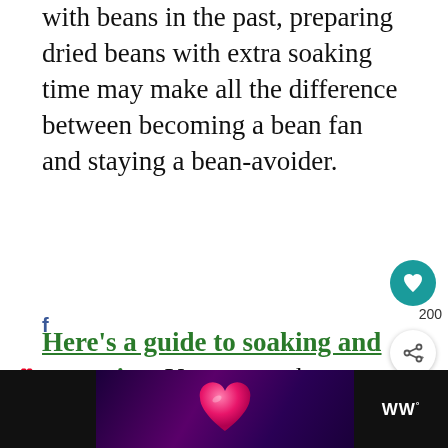with beans in the past, preparing dried beans with extra soaking time may make all the difference between becoming a bean fan and staying a bean-avoider.
Here's a guide to soaking and sprouting. You can soak your beans longer than the minimum 8 hours, changing the soaking water, in order to further reduce the gas-producing carbohydrates called oligosaccharides
[Figure (screenshot): Bottom video thumbnail with pink heart on purple/dark gradient background, with dark sidebar showing WW logo]